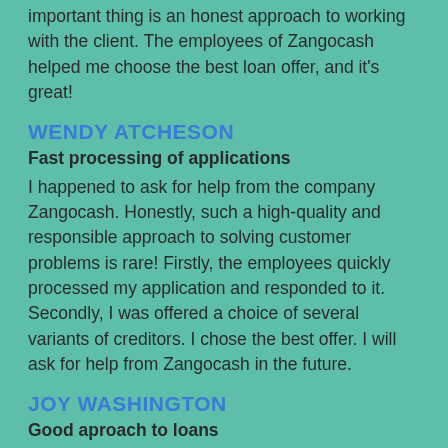important thing is an honest approach to working with the client. The employees of Zangocash helped me choose the best loan offer, and it's great!
WENDY ATCHESON
Fast processing of applications
I happened to ask for help from the company Zangocash. Honestly, such a high-quality and responsible approach to solving customer problems is rare! Firstly, the employees quickly processed my application and responded to it. Secondly, I was offered a choice of several variants of creditors. I chose the best offer. I will ask for help from Zangocash in the future.
JOY WASHINGTON
Good aproach to loans
A lot of us have been in a situation when we have to find money quickly for whatever reason, maybe, but you do not know where to turn — all that you would like to find...